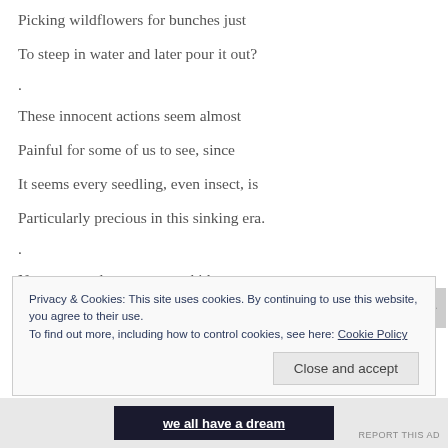Picking wildflowers for bunches just
To steep in water and later pour it out?
.
These innocent actions seem almost
Painful for some of us to see, since
It seems every seedling, even insect, is
Particularly precious in this sinking era.
.
Now we need to encourage kids to
Privacy & Cookies: This site uses cookies. By continuing to use this website, you agree to their use.
To find out more, including how to control cookies, see here: Cookie Policy
Close and accept
we all have a dream
REPORT THIS AD